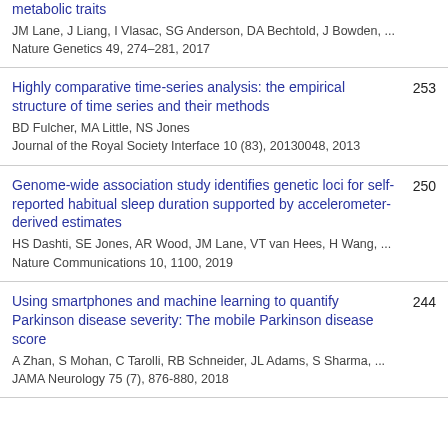metabolic traits
JM Lane, J Liang, I Vlasac, SG Anderson, DA Bechtold, J Bowden, ...
Nature Genetics 49, 274–281, 2017
Highly comparative time-series analysis: the empirical structure of time series and their methods
BD Fulcher, MA Little, NS Jones
Journal of the Royal Society Interface 10 (83), 20130048, 2013
253
Genome-wide association study identifies genetic loci for self-reported habitual sleep duration supported by accelerometer-derived estimates
HS Dashti, SE Jones, AR Wood, JM Lane, VT van Hees, H Wang, ...
Nature Communications 10, 1100, 2019
250
Using smartphones and machine learning to quantify Parkinson disease severity: The mobile Parkinson disease score
A Zhan, S Mohan, C Tarolli, RB Schneider, JL Adams, S Sharma, ...
JAMA Neurology 75 (7), 876-880, 2018
244